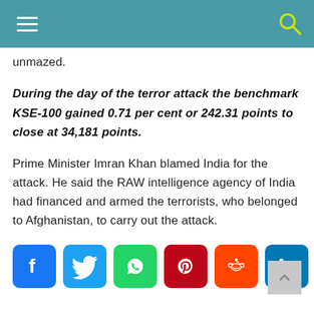unmazed.
During the day of the terror attack the benchmark KSE-100 gained 0.71 per cent or 242.31 points to close at 34,181 points.
Prime Minister Imran Khan blamed India for the attack. He said the RAW intelligence agency of India had financed and armed the terrorists, who belonged to Afghanistan, to carry out the attack.
[Figure (other): Social media share buttons: Facebook, Twitter, WhatsApp, Pinterest, Reddit, LinkedIn]